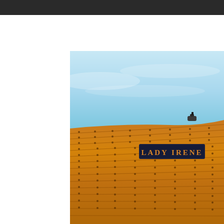[Figure (photo): A photograph of the hull of a classic wooden boat named 'Lady Irene'. The boat has a warm amber/orange wooden hull with horizontal planks fastened with rivets/bolts. A dark navy blue name board with 'LADY IRENE' written in gold/orange serif letters is mounted on the hull. The background shows a light blue sky with faint clouds and a hint of turquoise water or distant hills.]